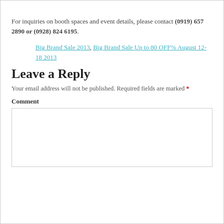For inquiries on booth spaces and event details, please contact (0919) 657 2890 or (0928) 824 6195.
Big Brand Sale 2013, Big Brand Sale Up to 80 OFF% August 12-18 2013
Leave a Reply
Your email address will not be published. Required fields are marked *
Comment